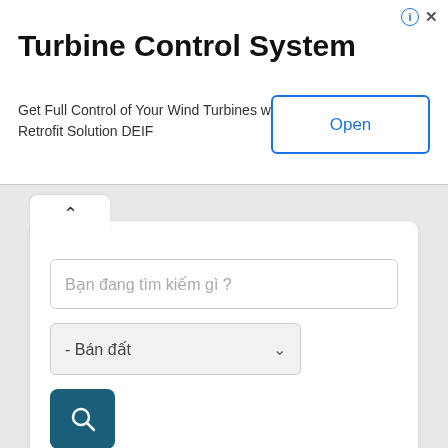[Figure (screenshot): Advertisement banner for Turbine Control System by DEIF with Open button]
Turbine Control System
Get Full Control of Your Wind Turbines with a Retrofit Solution DEIF
Bạn đang tìm kiếm gì ?
- Bán đất
Home » Nhà đất bán » Bán đất » Skincell Advanced Skin Healthcare 100& Natural
Skincell Advanced Skin Healthcare 100& Natural